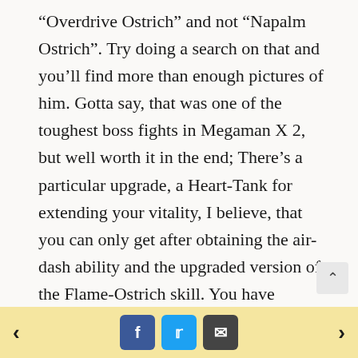“Overdrive Ostrich” and not “Napalm Ostrich”. Try doing a search on that and you’ll find more than enough pictures of him. Gotta say, that was one of the toughest boss fights in Megaman X 2, but well worth it in the end; There’s a particular upgrade, a Heart-Tank for extending your vitality, I believe, that you can only get after obtaining the air-dash ability and the upgraded version of the Flame-Ostrich skill. You have